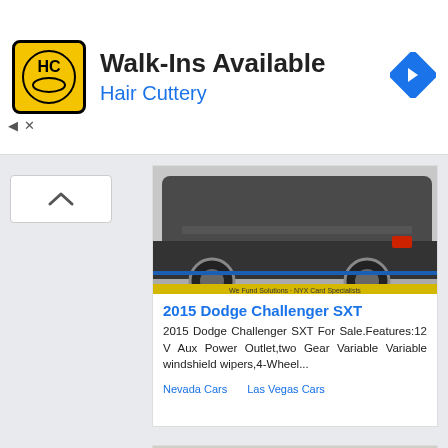[Figure (logo): Hair Cuttery advertisement banner with HC logo, Walk-Ins Available text, and navigation arrow icon]
[Figure (photo): Partial rear view of a dark colored 2015 Dodge Challenger SXT on pavement]
2015 Dodge Challenger SXT
2015 Dodge Challenger SXT For Sale.Features:12 V Aux Power Outlet,two Gear Variable Variable windshield wipers,4-Wheel...
Nevada Cars
Las Vegas Cars
[Figure (photo): Front three-quarter view of a dark green Mini Cooper in a parking lot]